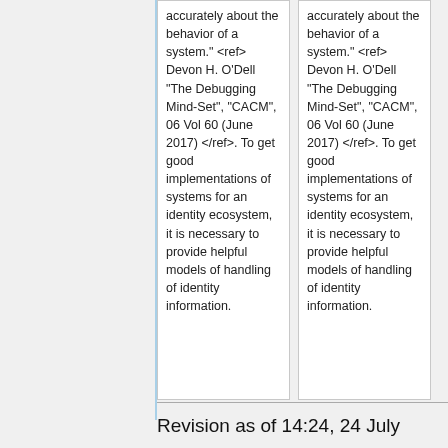accurately about the behavior of a system." <ref> Devon H. O'Dell "The Debugging Mind-Set", "CACM", 06 Vol 60 (June 2017) </ref>. To get good implementations of systems for an identity ecosystem, it is necessary to provide helpful models of handling of identity information.
accurately about the behavior of a system." <ref> Devon H. O'Dell "The Debugging Mind-Set", "CACM", 06 Vol 60 (June 2017) </ref>. To get good implementations of systems for an identity ecosystem, it is necessary to provide helpful models of handling of identity information.
Revision as of 14:24, 24 July